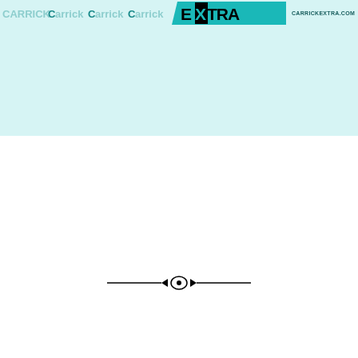[Figure (logo): Carrick Extra newspaper/website logo banner. Header shows repeated 'Carrick' text in teal on a light teal background, with a dark teal 'EXTRA' block logo and 'CarrickExtra.com' website address on the right.]
[Figure (illustration): Decorative horizontal divider line with an eye/lens shaped ornament in the center, consisting of two horizontal lines meeting a central ellipse shape with a pointed left arrow.]